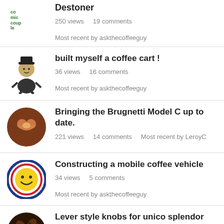Destoner
250 views   19 comments   Most recent by askthecoffeeguy
built myself a coffee cart !
36 views   16 comments   Most recent by askthecoffeeguy
Bringing the Brugnetti Model C up to date.
221 views   14 comments   Most recent by LeroyC
Constructing a mobile coffee vehicle
34 views   5 comments   Most recent by askthecoffeeguy
Lever style knobs for unico splendor
44 views   7 comments   Most recent by askthecoffeeguy
Gaggia Classic Rebuild